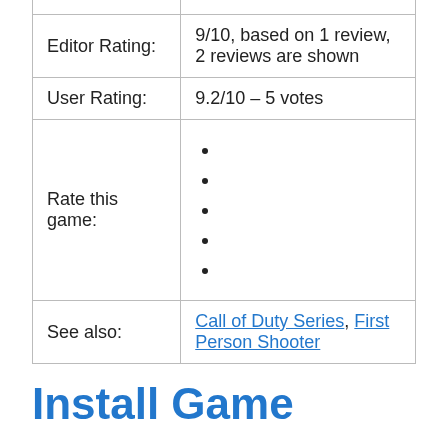|  |  |
| Editor Rating: | 9/10, based on 1 review, 2 reviews are shown |
| User Rating: | 9.2/10 – 5 votes |
| Rate this game: | • • • • • |
| See also: | Call of Duty Series, First Person Shooter |
Install Game